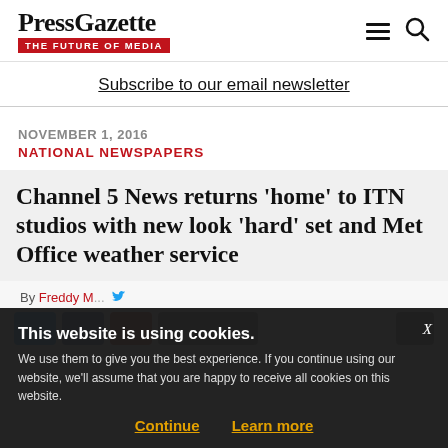PressGazette THE FUTURE OF MEDIA
Subscribe to our email newsletter
NOVEMBER 1, 2016
NATIONAL NEWSPAPERS
Channel 5 News returns 'home' to ITN studios with new look 'hard' set and Met Office weather service
By Freddy M...
This website is using cookies. We use them to give you the best experience. If you continue using our website, we'll assume that you are happy to receive all cookies on this website.